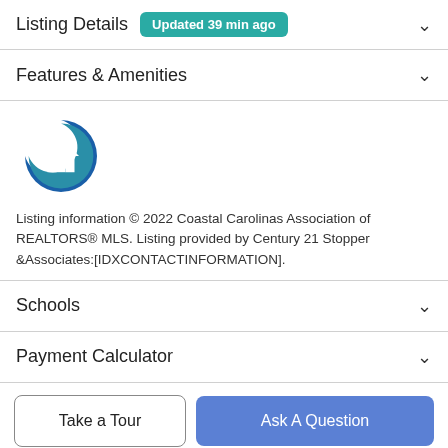Listing Details  Updated 39 min ago
Features & Amenities
[Figure (logo): Coastal Carolinas Association of REALTORS MLS logo — a dark teal and blue crescent/house icon]
Listing information © 2022 Coastal Carolinas Association of REALTORS® MLS. Listing provided by Century 21 Stopper &Associates:[IDXCONTACTINFORMATION].
Schools
Payment Calculator
Take a Tour
Ask A Question